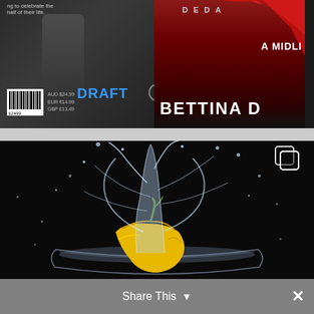[Figure (photo): Screenshot of a mobile app or website showing two images: top image is a book cover or similar publication with text 'DRAFT', 'BETTINA D', 'A MIDLI', 'DEDA', barcode, and prices AUD $24.99, EUR €14.99, GBP £13.49. Bottom image is a dramatic photograph of a yellow bell pepper splashing into a glass bowl of water against a black background with water droplets flying upward. A copy/duplicate icon appears in the top-right of the bottom image. A gray 'Share This' bar with a dropdown arrow and close X button appears at the very bottom.]